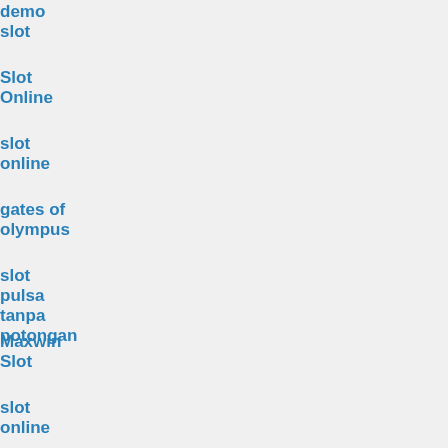demo slot
Slot Online
slot online
gates of olympus
slot pulsa tanpa potongan
Maxwin Slot
slot online